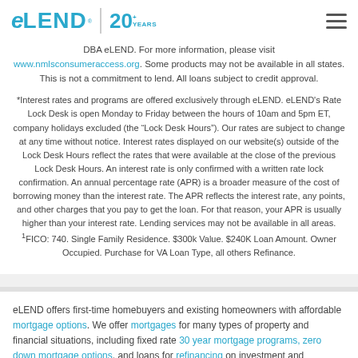eLEND | 20+ YEARS
DBA eLEND. For more information, please visit www.nmlsconsumeraccess.org. Some products may not be available in all states. This is not a commitment to lend. All loans subject to credit approval.
*Interest rates and programs are offered exclusively through eLEND. eLEND's Rate Lock Desk is open Monday to Friday between the hours of 10am and 5pm ET, company holidays excluded (the “Lock Desk Hours”). Our rates are subject to change at any time without notice. Interest rates displayed on our website(s) outside of the Lock Desk Hours reflect the rates that were available at the close of the previous Lock Desk Hours. An interest rate is only confirmed with a written rate lock confirmation. An annual percentage rate (APR) is a broader measure of the cost of borrowing money than the interest rate. The APR reflects the interest rate, any points, and other charges that you pay to get the loan. For that reason, your APR is usually higher than your interest rate. Lending services may not be available in all areas. ¹FICO: 740. Single Family Residence. $300k Value. $240K Loan Amount. Owner Occupied. Purchase for VA Loan Type, all others Refinance.
eLEND offers first-time homebuyers and existing homeowners with affordable mortgage options. We offer mortgages for many types of property and financial situations, including fixed rate 30 year mortgage programs, zero down mortgage options, and loans for refinancing on investment and...